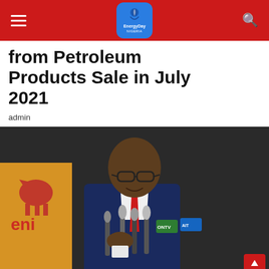EnergyDay Nigeria
from Petroleum Products Sale in July 2021
admin
[Figure (photo): A man in a blue suit and red tie with glasses speaking at a press conference with multiple microphones, in front of an Eni oil company backdrop]